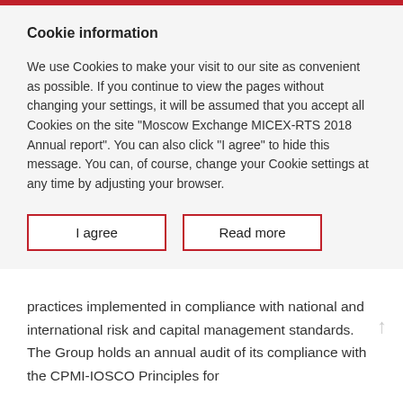Cookie information
We use Cookies to make your visit to our site as convenient as possible. If you continue to view the pages without changing your settings, it will be assumed that you accept all Cookies on the site “Moscow Exchange MICEX-RTS 2018 Annual report”. You can also click “I agree” to hide this message. You can, of course, change your Cookie settings at any time by adjusting your browser.
I agree
Read more
practices implemented in compliance with national and international risk and capital management standards. The Group holds an annual audit of its compliance with the CPMI-IOSCO Principles for